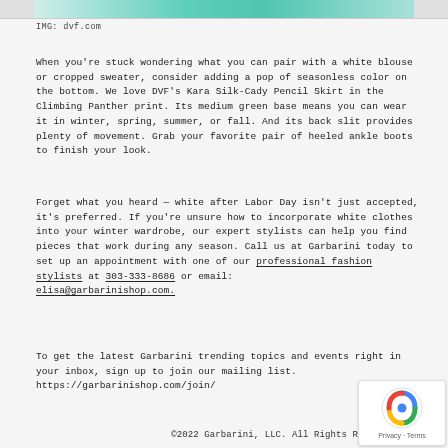[Figure (photo): Cropped top portion of a product photo showing teal/green fabric, partially visible]
IMG: dvf.com
When you're stuck wondering what you can pair with a white blouse or cropped sweater, consider adding a pop of seasonless color on the bottom. We love DVF's Kara Silk-Cady Pencil Skirt in the Climbing Panther print. Its medium green base means you can wear it in winter, spring, summer, or fall. And its back slit provides plenty of movement. Grab your favorite pair of heeled ankle boots to finish your look.
Forget what you heard — white after Labor Day isn't just accepted, it's preferred. If you're unsure how to incorporate white clothes into your winter wardrobe, our expert stylists can help you find pieces that work during any season. Call us at Garbarini today to set up an appointment with one of our professional fashion stylists at 303-333-8686 or email: elisa@garbarinishop.com.
To get the latest Garbarini trending topics and events right in your inbox, sign up to join our mailing list. https://garbarinishop.com/join/
©2022 Garbarini, LLC. All Rights R